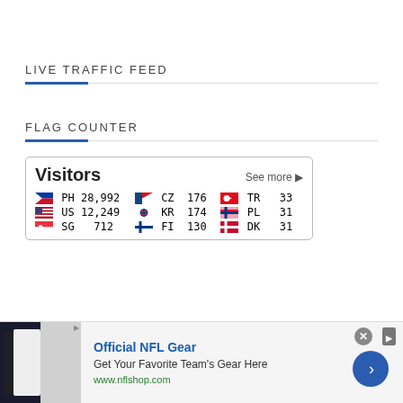LIVE TRAFFIC FEED
FLAG COUNTER
| Flag | Code | Count | Flag | Code | Count | Flag | Code | Count |
| --- | --- | --- | --- | --- | --- | --- | --- | --- |
| 🇵🇭 | PH | 28,992 | 🇨🇿 | CZ | 176 | 🇹🇷 | TR | 33 |
| 🇺🇸 | US | 12,249 | 🇰🇷 | KR | 174 | 🇵🇱 | PL | 31 |
| 🇸🇬 | SG | 712 | 🇫🇮 | FI | 130 | 🇩🇰 | DK | 31 |
[Figure (screenshot): NFL Gear advertisement banner with jersey image, 'Official NFL Gear' title, 'Get Your Favorite Team's Gear Here', www.nflshop.com URL, close button, and navigation arrow]